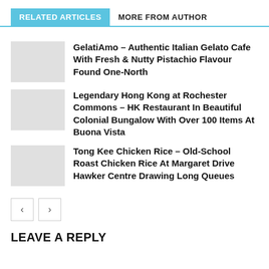RELATED ARTICLES | MORE FROM AUTHOR
GelatiAmo – Authentic Italian Gelato Cafe With Fresh & Nutty Pistachio Flavour Found One-North
Legendary Hong Kong at Rochester Commons – HK Restaurant In Beautiful Colonial Bungalow With Over 100 Items At Buona Vista
Tong Kee Chicken Rice – Old-School Roast Chicken Rice At Margaret Drive Hawker Centre Drawing Long Queues
< >
LEAVE A REPLY